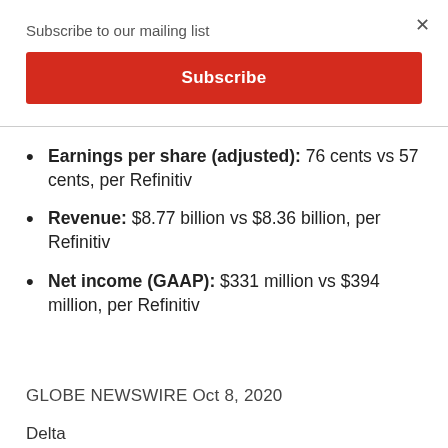Subscribe to our mailing list
Subscribe
Earnings per share (adjusted): 76 cents vs 57 cents, per Refinitiv
Revenue: $8.77 billion vs $8.36 billion, per Refinitiv
Net income (GAAP): $331 million vs $394 million, per Refinitiv
GLOBE NEWSWIRE Oct 8, 2020